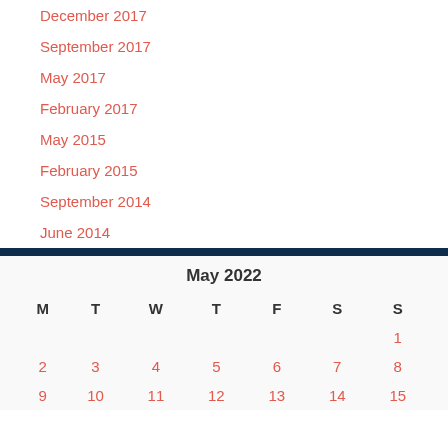December 2017
September 2017
May 2017
February 2017
May 2015
February 2015
September 2014
June 2014
| M | T | W | T | F | S | S |
| --- | --- | --- | --- | --- | --- | --- |
|  |  |  |  |  |  | 1 |
| 2 | 3 | 4 | 5 | 6 | 7 | 8 |
| 9 | 10 | 11 | 12 | 13 | 14 | 15 |